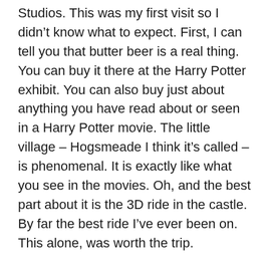Studios. This was my first visit so I didn't know what to expect. First, I can tell you that butter beer is a real thing. You can buy it there at the Harry Potter exhibit. You can also buy just about anything you have read about or seen in a Harry Potter movie. The little village – Hogsmeade I think it's called – is phenomenal. It is exactly like what you see in the movies. Oh, and the best part about it is the 3D ride in the castle. By far the best ride I've ever been on. This alone, was worth the trip.
Universal also has other stuff, Jurassic Park, tours, Simpsons, etc. All good stuff, but it all pales compared to what you'll find in Harry Potter land. I'll know I'll be going back.
By the way, if you want to buy a magic wand, they cost $52. The butter beer is only $6, but plan on sharing it